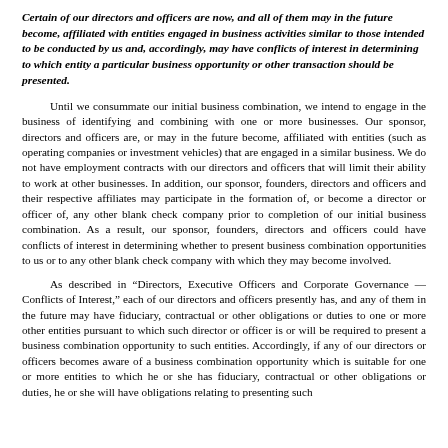Certain of our directors and officers are now, and all of them may in the future become, affiliated with entities engaged in business activities similar to those intended to be conducted by us and, accordingly, may have conflicts of interest in determining to which entity a particular business opportunity or other transaction should be presented.
Until we consummate our initial business combination, we intend to engage in the business of identifying and combining with one or more businesses. Our sponsor, directors and officers are, or may in the future become, affiliated with entities (such as operating companies or investment vehicles) that are engaged in a similar business. We do not have employment contracts with our directors and officers that will limit their ability to work at other businesses. In addition, our sponsor, founders, directors and officers and their respective affiliates may participate in the formation of, or become a director or officer of, any other blank check company prior to completion of our initial business combination. As a result, our sponsor, founders, directors and officers could have conflicts of interest in determining whether to present business combination opportunities to us or to any other blank check company with which they may become involved.
As described in “Directors, Executive Officers and Corporate Governance — Conflicts of Interest,” each of our directors and officers presently has, and any of them in the future may have fiduciary, contractual or other obligations or duties to one or more other entities pursuant to which such director or officer is or will be required to present a business combination opportunity to such entities. Accordingly, if any of our directors or officers becomes aware of a business combination opportunity which is suitable for one or more entities to which he or she has fiduciary, contractual or other obligations or duties, he or she will have obligations relating to presenting such